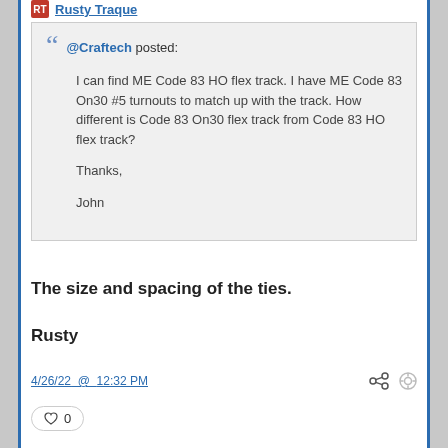Rusty Traque
@Craftech posted:
I can find ME Code 83 HO flex track.  I have ME Code 83 On30 #5 turnouts to match up with the track.  How different is Code 83 On30 flex track from Code 83 HO flex track?

Thanks,

John
The size and spacing of the ties.
Rusty
4/26/22 @ 12:32 PM
0